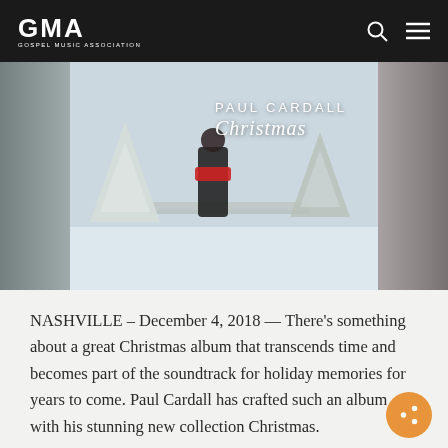GMA — GOSPEL MUSIC ASSOCIATION
[Figure (photo): Album cover for Paul Cardall Christmas — a man in a black coat and red scarf standing in a snowy winter landscape with snow-covered trees. Text overlay reads 'PAUL CARDALL Christmas'.]
NASHVILLE – December 4, 2018 — There's something about a great Christmas album that transcends time and becomes part of the soundtrack for holiday memories for years to come. Paul Cardall has crafted such an album with his stunning new collection Christmas.